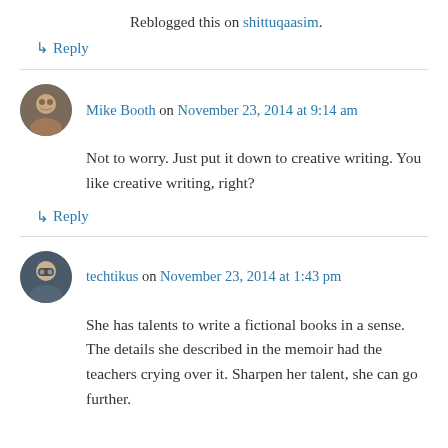Reblogged this on shittuqaasim.
↳ Reply
Mike Booth on November 23, 2014 at 9:14 am
Not to worry. Just put it down to creative writing. You like creative writing, right?
↳ Reply
techtikus on November 23, 2014 at 1:43 pm
She has talents to write a fictional books in a sense. The details she described in the memoir had the teachers crying over it. Sharpen her talent, she can go further.